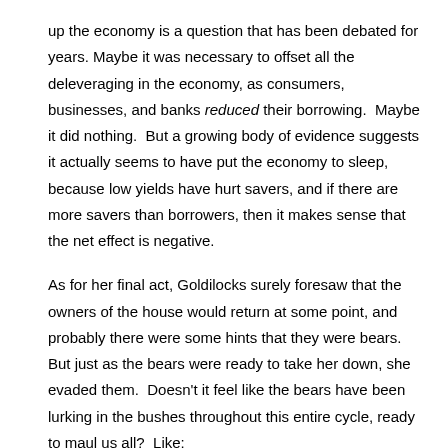up the economy is a question that has been debated for years. Maybe it was necessary to offset all the deleveraging in the economy, as consumers, businesses, and banks reduced their borrowing.  Maybe it did nothing.  But a growing body of evidence suggests it actually seems to have put the economy to sleep, because low yields have hurt savers, and if there are more savers than borrowers, then it makes sense that the net effect is negative.
As for her final act, Goldilocks surely foresaw that the owners of the house would return at some point, and probably there were some hints that they were bears. But just as the bears were ready to take her down, she evaded them.  Doesn't it feel like the bears have been lurking in the bushes throughout this entire cycle, ready to maul us all?  Like:
The real estate bust that was supposed to deal a permanent blow to our housing market
Bankruptcies and nationalizations in the financial system